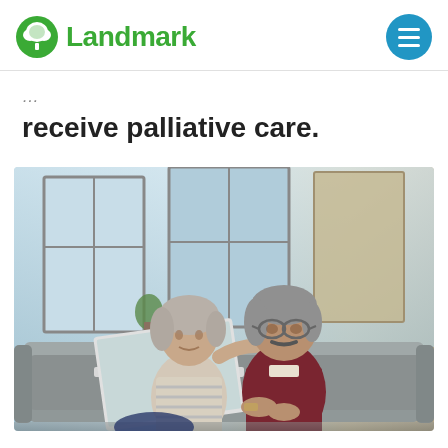Landmark
receive palliative care.
[Figure (photo): An elderly couple sitting on a couch together, looking at a laptop. The woman has gray hair and is wearing a striped top; the man has gray hair and glasses and is wearing a dark red sweater. They are in a bright, modern living room.]